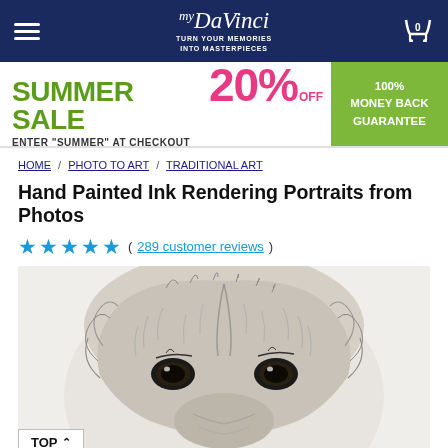myDaVinci — TURN YOUR MEMORIES INTO MASTERPIECES
[Figure (infographic): Summer Sale banner: SUMMER SALE 20% OFF in green and pink. Enter SUMMER at checkout. 100% Money Back Guarantee badge in green.]
HOME / PHOTO TO ART / TRADITIONAL ART
Hand Painted Ink Rendering Portraits from Photos
★★★★★ ( 289 customer reviews )
[Figure (illustration): Hand-drawn black and white ink rendering portrait of a dog (golden retriever type), showing the top half of its face with expressive eyes and fluffy fur.]